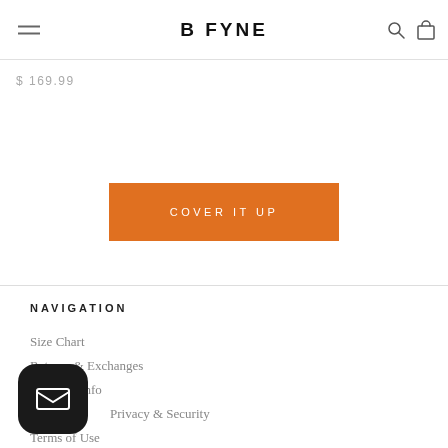B FYNE
$ 169.99
COVER IT UP
NAVIGATION
Size Chart
Returns & Exchanges
Shipping Info
Privacy & Security
Terms of Use